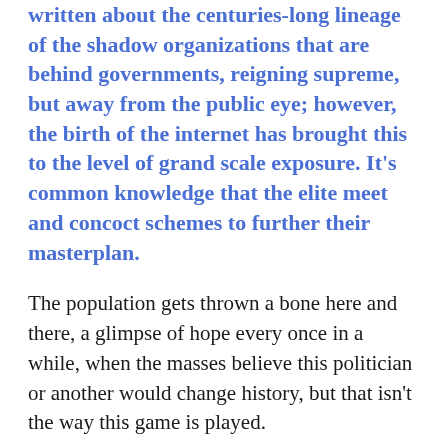written about the centuries-long lineage of the shadow organizations that are behind governments, reigning supreme, but away from the public eye; however, the birth of the internet has brought this to the level of grand scale exposure. It's common knowledge that the elite meet and concoct schemes to further their masterplan.
The population gets thrown a bone here and there, a glimpse of hope every once in a while, when the masses believe this politician or another would change history, but that isn't the way this game is played.
Their networks, rogue agents, secret societies, and blood connections are operating at all times, using threat,